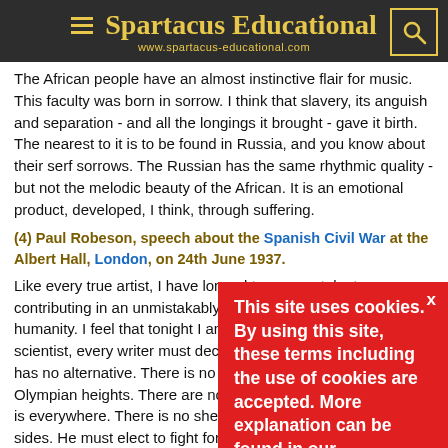Spartacus Educational www.spartacus-educational.com
The African people have an almost instinctive flair for music. This faculty was born in sorrow. I think that slavery, its anguish and separation - and all the longings it brought - gave it birth. The nearest to it is to be found in Russia, and you know about their serf sorrows. The Russian has the same rhythmic quality - but not the melodic beauty of the African. It is an emotional product, developed, I think, through suffering.
(4) Paul Robeson, speech about the Spanish Civil War at the Albert Hall, London, on 24th June 1937.
Like every true artist, I have longed to see my talent contributing in an unmistakably clear manner to the cause of humanity. I feel that tonight I am doing so. Every artist, every scientist, every writer must decide now where he stands. He has no alternative. There is no standing above the conflict on Olympian heights. There are no impartial observers. The front is everywhere. There is no sheltered rear. An artist must take sides. He must elect to fight for freedom or for slavery. I